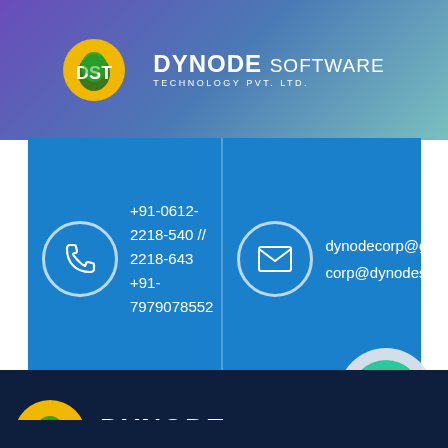[Figure (logo): Dynode Software Technology Pvt. Ltd. logo with gold circle icon and white text on gradient background]
+91-0612-2218-540 // 2218-643 +91-7979078552
dynodecorp@gmail.com
corp@dynodesoft.com
[Figure (illustration): White section with floating teal phone call button on bottom right]
[Figure (logo): Dynode Software Technology Pvt. Ltd. logo on dark navy background]
Dynode Software Private Limited is one the Best IT Solution providing